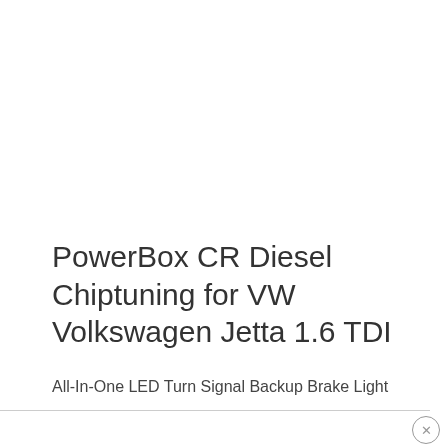PowerBox CR Diesel Chiptuning for VW Volkswagen Jetta 1.6 TDI
All-In-One LED Turn Signal Backup Brake Light